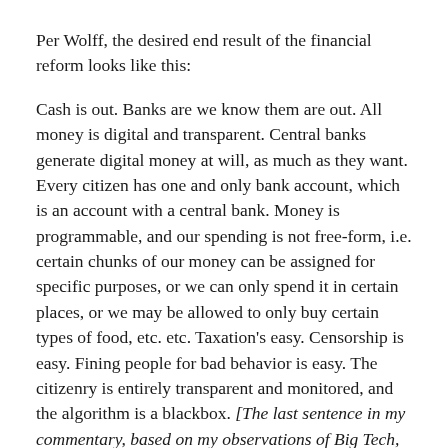Per Wolff, the desired end result of the financial reform looks like this:

Cash is out. Banks are we know them are out. All money is digital and transparent. Central banks generate digital money at will, as much as they want. Every citizen has one and only bank account, which is an account with a central bank. Money is programmable, and our spending is not free-form, i.e. certain chunks of our money can be assigned for specific purposes, or we can only spend it in certain places, or we may be allowed to only buy certain types of food, etc. etc. Taxation's easy. Censorship is easy. Fining people for bad behavior is easy. The citizenry is entirely transparent and monitored, and the algorithm is a blackbox. [The last sentence in my commentary, based on my observations of Big Tech, and how they usually go about